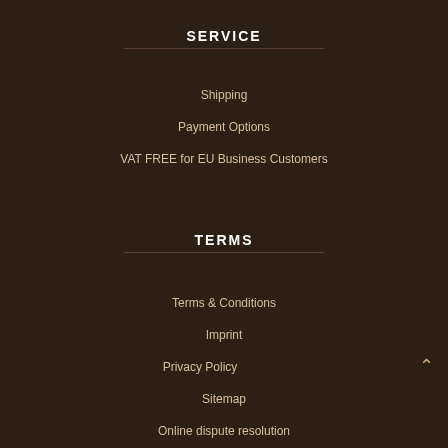SERVICE
Shipping
Payment Options
VAT FREE for EU Business Customers
TERMS
Terms & Conditions
Imprint
Privacy Policy
Sitemap
Online dispute resolution